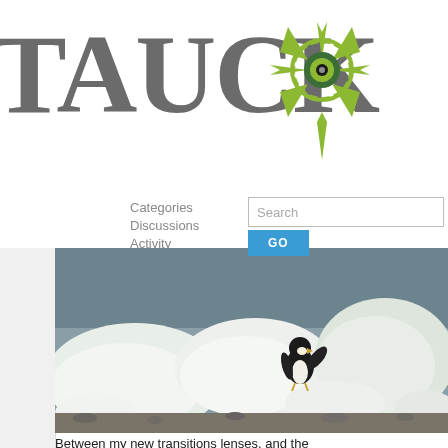[Figure (logo): Tauck logo with compass icon — gray serif TAUCK text and a green compass/wheel graphic]
Categories
Discussions
Activity
[Figure (screenshot): Search input box with placeholder 'Search' and a blue GO button below it]
[Figure (photo): A penguin standing on ice chunks near a rocky shore with water visible in the background]
Between my new transitions lenses, and the